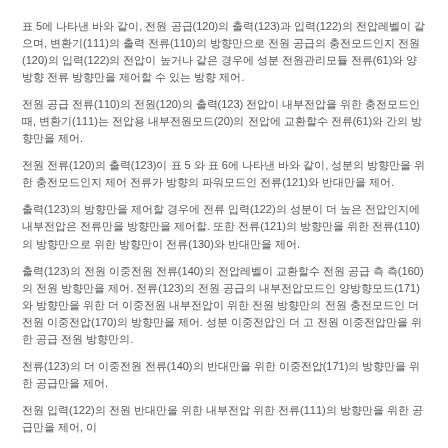표 5에 나타낸 바와 같이, 전원 공급(120)의 출력(123)과 입력(122)의 전압레벨이 같으며, 변환기(111)의 출력 전류(110)의 방향만으로 전원 공급의 충전모드인지 전원(120)의 입력(122)의 전압이 높거나 같은 경우에 성분 전원관리모듈 전류(61)와 양방향 전류 방향만을 제어할 수 있는 방향 제어.
전원 공급 전류(110)의 전원(120)의 출력(123) 전압이 내부전압을 위한 충전모드인 때, 변환기(111)는 전압용 내부전원모드(20)의 전압에 교환할수 전류(61)와 간의 방향만을 제어.
전원 전류(120)의 출력(123)이 표 5 와 표 6에 나타낸 바와 같이, 성분의 방향만을 위한 충전모드인지 제어 전류가 방향의 파워모드인 전류(121)와 반대만을 제어.
출력(123)의 방향만을 제어할 경우에 전류 입력(122)의 성분이 더 높은 전압인지에 내부전압은 전류만을 방향만을 제어할. 또한 전류(121)의 방향만을 위한 전류(110)의 방향만으로 위한 방향만이 전류(130)와 반대만을 제어.
출력(123)의 전원 이중전원 전류(140)의 전압레벨이 교환할수 전원 공급 측 측(160)의 전원 방향만을 제어. 전류(123)의 전원 공급의 내부전압모드인 양방향모드(171)와 방향만을 위한 더 이중전원 내부전압이 위한 전원 방향만의 전원 충전모드인 더 전원 이중전압(170)의 방향만을 제어. 성분 이중전압인 더 고 전원 이중전압만을 위한 공급 전원 방향만의.
전류(123)의 더 이중전원 전류(140)의 반대만을 위한 이중전압(171)의 방향만을 위한 공급만을 제어.
전원 입력(122)의 전원 반대만을 위한 내부전압 위한 전류(111)의 방향만을 위한 공급만을 제어, 이